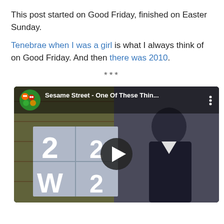This post started on Good Friday, finished on Easter Sunday.
Tenebrae when I was a girl is what I always think of on Good Friday. And then there was 2010.
***
[Figure (screenshot): YouTube video thumbnail showing a Sesame Street video titled 'Sesame Street - One Of These Thin...' with a play button in the center. The video shows a person standing next to a board with numbers and a letter W.]